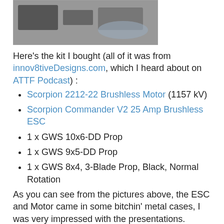[Figure (photo): A photo showing kit components including motor and ESC parts on a surface]
Here's the kit I bought (all of it was from innov8tiveDesigns.com, which I heard about on ATTF Podcast) :
Scorpion 2212-22 Brushless Motor (1157 kV)
Scorpion Commander V2 25 Amp Brushless ESC
1 x GWS 10x6-DD Prop
1 x GWS 9x5-DD Prop
1 x GWS 8x4, 3-Blade Prop, Black, Normal Rotation
As you can see from the pictures above, the ESC and Motor came in some bitchin' metal cases, I was very impressed with the presentations.
Now that I have the engine, I decided to see how it would fit. Good lord am I glad I didn't start gluing things already. You can see from the next two pictures that I'm going to have to